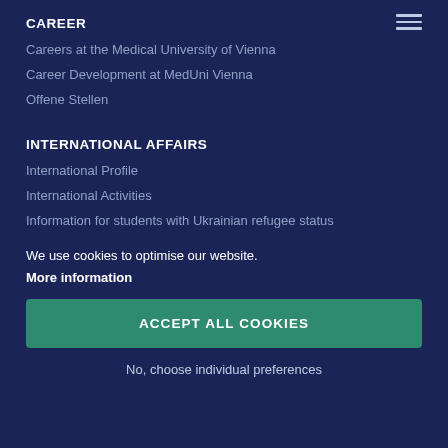CAREER
Careers at the Medical University of Vienna
Career Development at MedUni Vienna
Offene Stellen
INTERNATIONAL AFFAIRS
International Profile
International Activities
Information for students with Ukrainian refugee status
We use cookies to optimise our website.
More information
ACCEPT ALL COOKIES
No, choose individual preferences